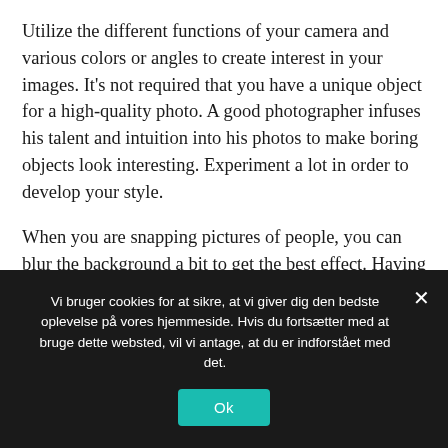Utilize the different functions of your camera and various colors or angles to create interest in your images. It's not required that you have a unique object for a high-quality photo. A good photographer infuses his talent and intuition into his photos to make boring objects look interesting. Experiment a lot in order to develop your style.
When you are snapping pictures of people, you can blur the background a bit to get the best effect. Having a background that is in full focus will take away from your subject, making it harder to direct your viewer's focus to the right location. This is
Vi bruger cookies for at sikre, at vi giver dig den bedste oplevelse på vores hjemmeside. Hvis du fortsætter med at bruge dette websted, vil vi antage, at du er indforstået med det.
Ok